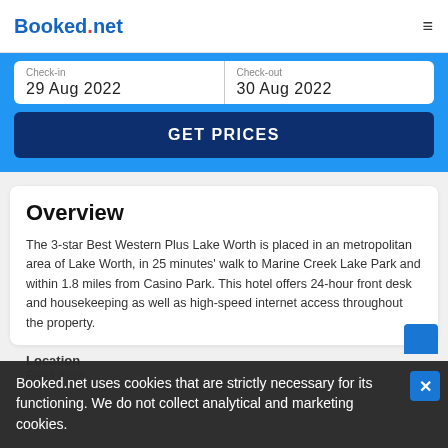Booked.net
Check-in
29 Aug 2022
Check-out
30 Aug 2022
GET PRICES
Overview
The 3-star Best Western Plus Lake Worth is placed in an metropolitan area of Lake Worth, in 25 minutes' walk to Marine Creek Lake Park and within 1.8 miles from Casino Park. This hotel offers 24-hour front desk and housekeeping as well as high-speed internet access throughout the property.
Location
Read more
Booked.net uses cookies that are strictly necessary for its functioning. We do not collect analytical and marketing cookies.